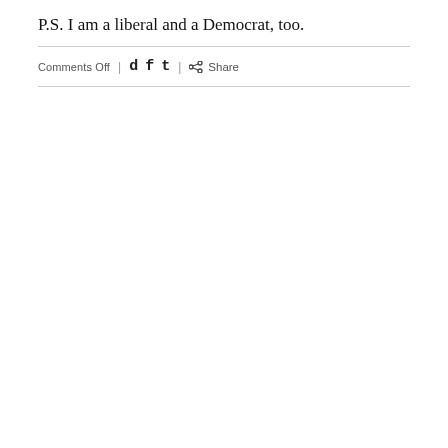P.S. I am a liberal and a Democrat, too.
Comments Off  |  d f t  |  Share